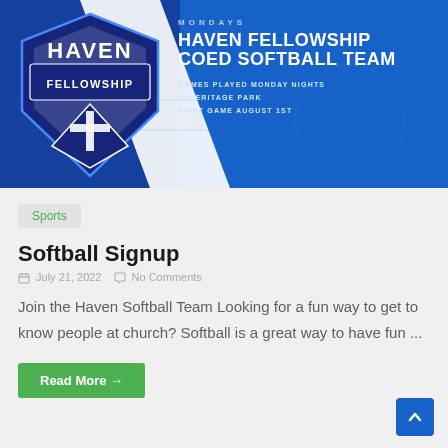[Figure (illustration): Haven Fellowship Coed Softball Team promotional banner. Blue background with shield/crest logo on left showing 'Haven Fellowship' with a cross. Right side text: 'MONDAYS', 'HAVEN FELLOWSHIP COED SOFTBALL TEAM', 'GAMES PLAYED MONDAY NIGHTS @ HERITAGE PARK FIRST GAME AUGUST 1ST'.]
Sports
Softball Signup
July 21, 2022   No Comments
Join the Haven Softball Team Looking for a fun way to get to know people at church? Softball is a great way to have fun ...
Read More →